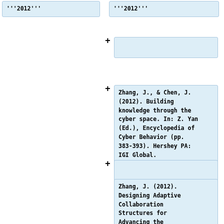'''2012'''
'''2012'''
Zhang, J., & Chen, J. (2012). Building knowledge through the cyber space. In: Z. Yan (Ed.), Encyclopedia of Cyber Behavior (pp. 383-393). Hershey PA: IGI Global.
Zhang, J. (2012). Designing Adaptive Collaboration Structures for Advancing the Community's Knowledge. In: D.Y. Dai (Ed.), Design research on